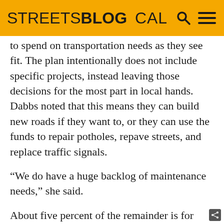STREETSBLOG CAL
to spend on transportation needs as they see fit. The plan intentionally does not include specific projects, instead leaving those decisions for the most part in local hands. Dabbs noted that this means they can build new roads if they want to, or they can use the funds to repair potholes, repave streets, and replace traffic signals.
“We do have a huge backlog of maintenance needs,” she said.
About five percent of the remainder is for transit projects, and the rest will go for regional transportation projects, which can include highway “improvements,” passenger rail, or ride-share and vanpool programs.